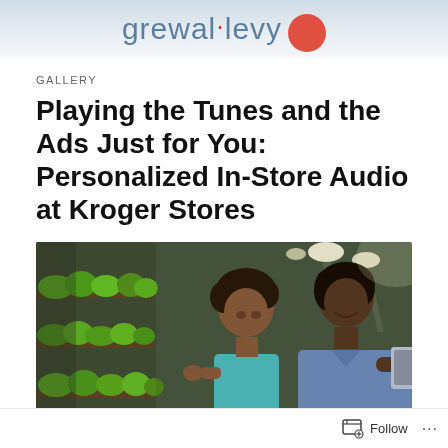grewal·levy
GALLERY
Playing the Tunes and the Ads Just for You: Personalized In-Store Audio at Kroger Stores
[Figure (photo): A woman and young girl shopping in a grocery store produce section, looking at a product label. A shopping cart with vegetables is visible. Bright store lighting overhead.]